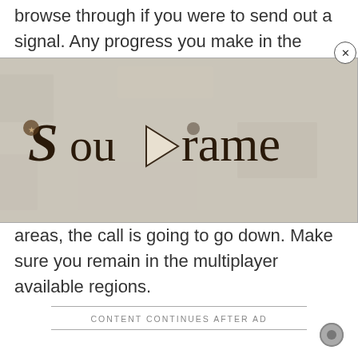browse through if you were to send out a signal. Any progress you make in the game gets saved to the host's world, not to yours. If you join someone's game hours ahead, you're not going to progress, even...
[Figure (screenshot): Soulframe game advertisement overlay with close button (X). Shows a stone/parchment texture background with the text 'Soulframe' in gothic/medieval blackletter font with a play button triangle in the middle.]
Some areas do not allow mu... out a distress signal and venture into these areas, the call is going to go down. Make sure you remain in the multiplayer available regions.
CONTENT CONTINUES AFTER AD